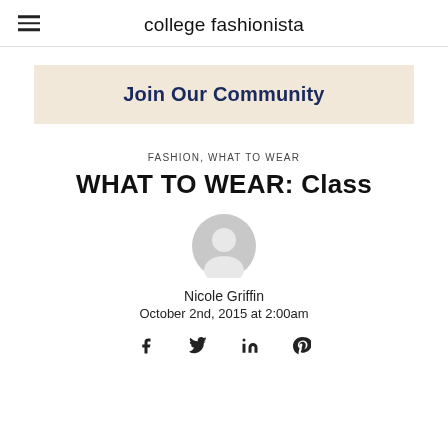college fashionista
[Figure (other): Join Our Community banner with beige/cream background and bold dark navy text]
FASHION, WHAT TO WEAR
WHAT TO WEAR: Class
[Figure (other): Circular user avatar placeholder icon in light gray]
Nicole Griffin
October 2nd, 2015 at 2:00am
[Figure (other): Social sharing icons: Facebook, Twitter, LinkedIn, Pinterest]